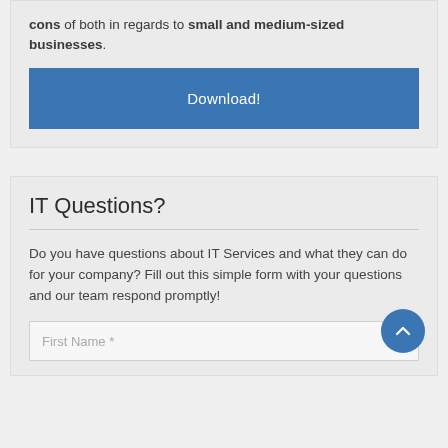cons of both in regards to small and medium-sized businesses.
Download!
IT Questions?
Do you have questions about IT Services and what they can do for your company? Fill out this simple form with your questions and our team respond promptly!
First Name *